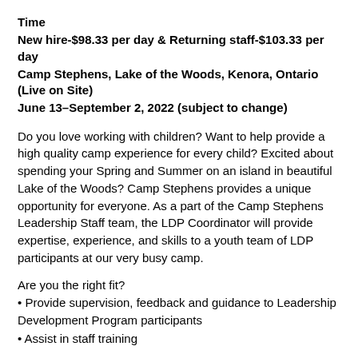Time
New hire-$98.33 per day & Returning staff-$103.33 per day
Camp Stephens, Lake of the Woods, Kenora, Ontario (Live on Site)
June 13–September 2, 2022 (subject to change)
Do you love working with children? Want to help provide a high quality camp experience for every child? Excited about spending your Spring and Summer on an island in beautiful Lake of the Woods? Camp Stephens provides a unique opportunity for everyone. As a part of the Camp Stephens Leadership Staff team, the LDP Coordinator will provide expertise, experience, and skills to a youth team of LDP participants at our very busy camp.
Are you the right fit?
• Provide supervision, feedback and guidance to Leadership Development Program participants
• Assist in staff training